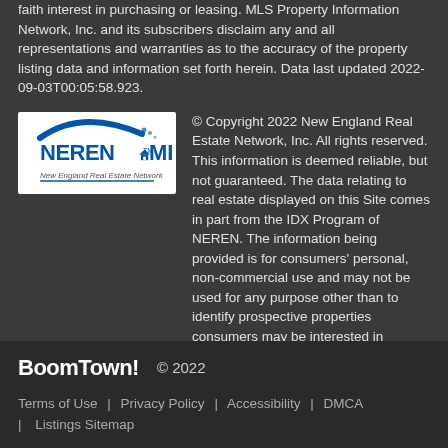faith interest in purchasing or leasing. MLS Property Information Network, Inc. and its subscribers disclaim any and all representations and warranties as to the accuracy of the property listing data and information set forth herein. Data last updated 2022-09-03T00:05:58.923.
[Figure (logo): NEREN MLS - New England Real Estate Network logo on white background]
© Copyright 2022 New England Real Estate Network, Inc. All rights reserved. This information is deemed reliable, but not guaranteed. The data relating to real estate displayed on this Site comes in part from the IDX Program of NEREN. The information being provided is for consumers' personal, non-commercial use and may not be used for any purpose other than to identify prospective properties consumers may be interested in purchasing. Data last updated 2022-09-03T00:05:53.427.
BoomTown! © 2022
Terms of Use | Privacy Policy | Accessibility | DMCA | Listings Sitemap